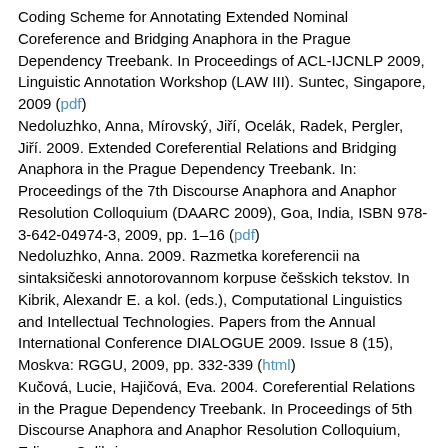Coding Scheme for Annotating Extended Nominal Coreference and Bridging Anaphora in the Prague Dependency Treebank. In Proceedings of ACL-IJCNLP 2009, Linguistic Annotation Workshop (LAW III). Suntec, Singapore, 2009 (pdf)
Nedoluzhko, Anna, Mírovský, Jiří, Ocelák, Radek, Pergler, Jiří. 2009. Extended Coreferential Relations and Bridging Anaphora in the Prague Dependency Treebank. In: Proceedings of the 7th Discourse Anaphora and Anaphor Resolution Colloquium (DAARC 2009), Goa, India, ISBN 978-3-642-04974-3, 2009, pp. 1–16 (pdf)
Nedoluzhko, Anna. 2009. Razmetka koreferencii na sintaksičeski annotorovannom korpuse češskich tekstov. In Kibrik, Alexandr E. a kol. (eds.), Computational Linguistics and Intellectual Technologies. Papers from the Annual International Conference DIALOGUE 2009. Issue 8 (15), Moskva: RGGU, 2009, pp. 332-339 (html)
Kučová, Lucie, Hajičová, Eva. 2004. Coreferential Relations in the Prague Dependency Treebank. In Proceedings of 5th Discourse Anaphora and Anaphor Resolution Colloquium, Edicoes Colibri
Kučová, Lucie, Kolářová, Veronika, Žabokrtský, Zdeněk, Pajas, Petr, Čulo, Oliver. 2003. Anotování koreference v Pražském závislostním korpusu. Praha: ÚFAL/CKL MFF UK, 51,